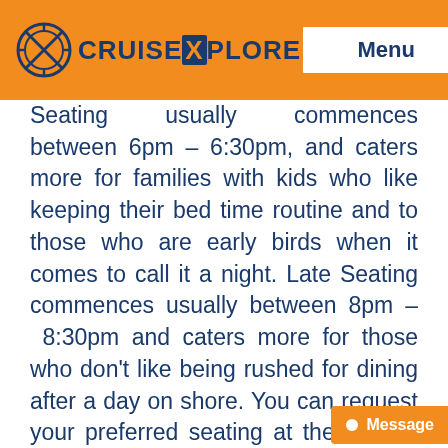[Figure (logo): CruiseXplore logo with compass icon and Menu button on orange header bar]
Seating usually commences between 6pm – 6:30pm, and caters more for families with kids who like keeping their bed time routine and to those who are early birds when it comes to call it a night. Late Seating commences usually between 8pm – 8:30pm and caters more for those who don't like being rushed for dining after a day on shore. You can request your preferred seating at the time of booking, however it is on a request basis and is assigned on a first come first